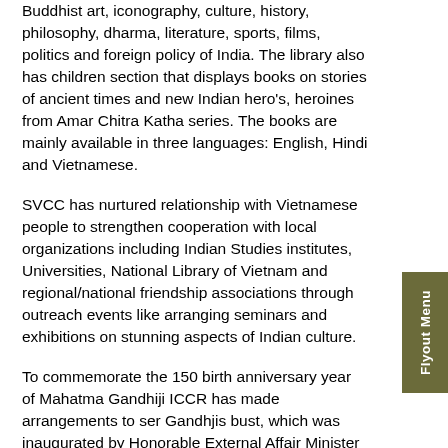Buddhist art, iconography, culture, history, philosophy, dharma, literature, sports, films, politics and foreign policy of India. The library also has children section that displays books on stories of ancient times and new Indian hero's, heroines from Amar Chitra Katha series. The books are mainly available in three languages: English, Hindi and Vietnamese.
SVCC has nurtured relationship with Vietnamese people to strengthen cooperation with local organizations including Indian Studies institutes, Universities, National Library of Vietnam and regional/national friendship associations through outreach events like arranging seminars and exhibitions on stunning aspects of Indian culture.
To commemorate the 150 birth anniversary year of Mahatma Gandhiji ICCR has made arrangements to set Gandhjis bust, which was inaugurated by Honorable External Affair Minister Smt Sushma Swaraj in August 2 that become an attraction for the travelers and Vietnamese nationals.
The centre organizes Cultural festivals of India series which covers range of Indian festivals including Holi, Diwali, and Ganesha, which gives a cultural immersion experience to the people. Besides these agriculture, use of